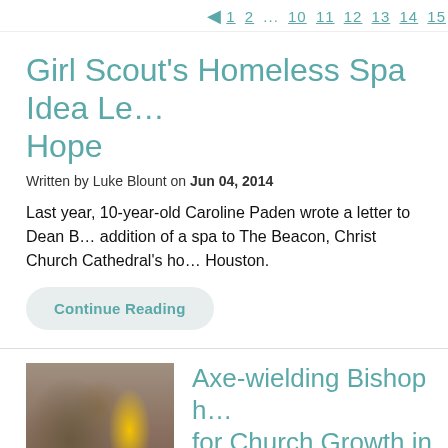1 2 ...10 11 12 13 14 15
Girl Scout's Homeless Spa Idea Le… Hope
Written by Luke Blount on Jun 04, 2014
Last year, 10-year-old Caroline Paden wrote a letter to Dean B… addition of a spa to The Beacon, Christ Church Cathedral's ho… Houston.
Continue Reading
Axe-wielding Bishop h… for Church Growth in C…
[Figure (photo): Photo showing people holding tools or ropes outdoors, one person wearing a yellow jacket]